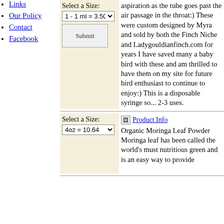Links
Our Policy
Contact
Facebook
aspiration as the tube goes past the air passage in the throat:) These were custom designed by Myra and sold by both the Finch Niche and Ladygouldianfinch.com for years I have saved many a baby bird with these and am thrilled to have them on my site for future bird enthusiast to continue to enjoy:) This is a disposable syringe so... 2-3 uses.
Select a Size: 1 - 1 ml = 3.50
[Figure (other): Submit button]
Organic Moringa Leaf Powder Moringa leaf has been called the world's must nutritious green and is an easy way to provide
Select a Size: 4oz = 10.64
[Figure (other): Product image placeholder]
[Figure (other): Product Info link]